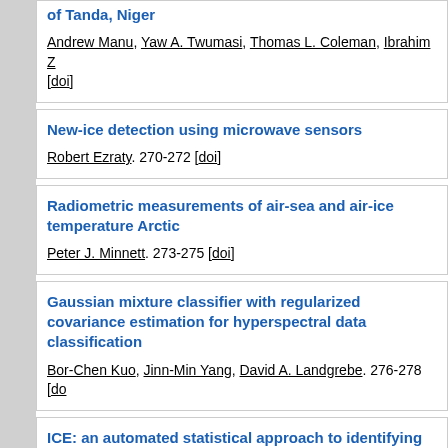of Tanda, Niger
Andrew Manu, Yaw A. Twumasi, Thomas L. Coleman, Ibrahim Z [doi]
New-ice detection using microwave sensors
Robert Ezraty. 270-272 [doi]
Radiometric measurements of air-sea and air-ice temperature Arctic
Peter J. Minnett. 273-275 [doi]
Gaussian mixture classifier with regularized covariance estimation for hyperspectral data classification
Bor-Chen Kuo, Jinn-Min Yang, David A. Landgrebe. 276-278 [do
ICE: an automated statistical approach to identifying endmembers in hyperspectral images
Mark Berman 0002, Harri T. Kiiveri, Ryan Langerstrom, Andreas